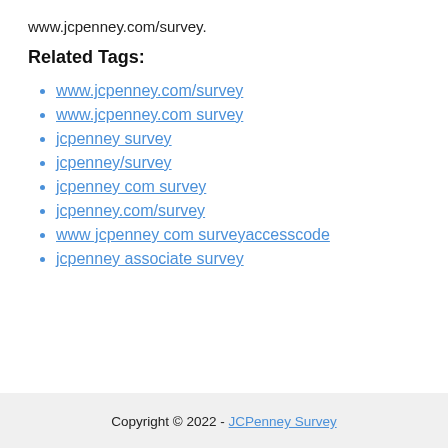www.jcpenney.com/survey.
Related Tags:
www.jcpenney.com/survey
www.jcpenney.com survey
jcpenney survey
jcpenney/survey
jcpenney com survey
jcpenney.com/survey
www jcpenney com surveyaccesscode
jcpenney associate survey
Copyright © 2022 - JCPenney Survey